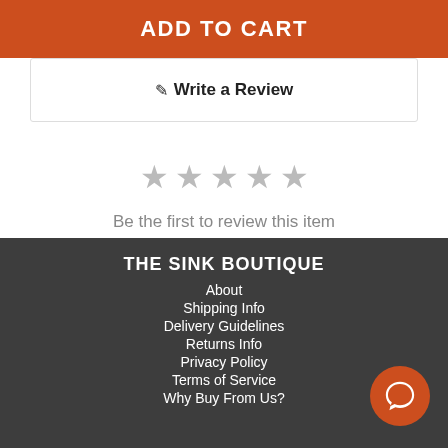ADD TO CART
✎ Write a Review
[Figure (other): Five empty star icons in gray indicating no reviews yet]
Be the first to review this item
THE SINK BOUTIQUE
About
Shipping Info
Delivery Guidelines
Returns Info
Privacy Policy
Terms of Service
Why Buy From Us?